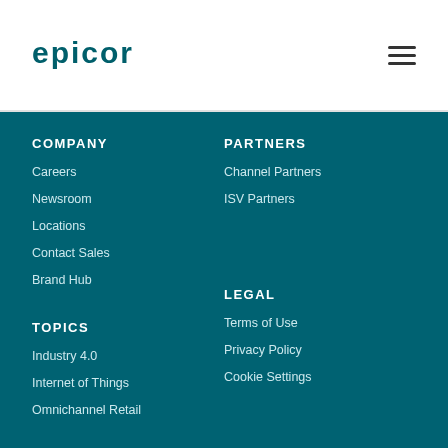[Figure (logo): Epicor logo in teal/dark cyan color]
COMPANY
Careers
Newsroom
Locations
Contact Sales
Brand Hub
PARTNERS
Channel Partners
ISV Partners
TOPICS
Industry 4.0
Internet of Things
Omnichannel Retail
LEGAL
Terms of Use
Privacy Policy
Cookie Settings